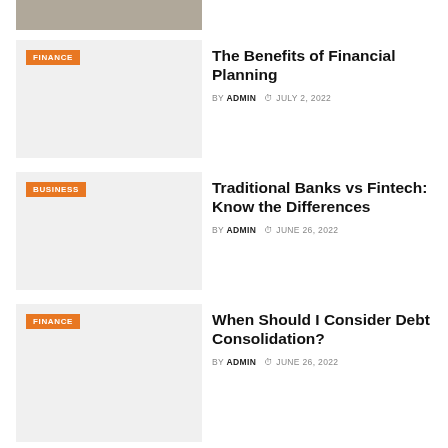[Figure (photo): Partial view of a photo (top of page, cropped) showing a desk/office scene]
[Figure (photo): Article thumbnail placeholder with orange FINANCE badge]
The Benefits of Financial Planning
BY ADMIN  JULY 2, 2022
[Figure (photo): Article thumbnail placeholder with orange BUSINESS badge]
Traditional Banks vs Fintech: Know the Differences
BY ADMIN  JUNE 26, 2022
[Figure (photo): Article thumbnail placeholder with orange FINANCE badge]
When Should I Consider Debt Consolidation?
BY ADMIN  JUNE 26, 2022